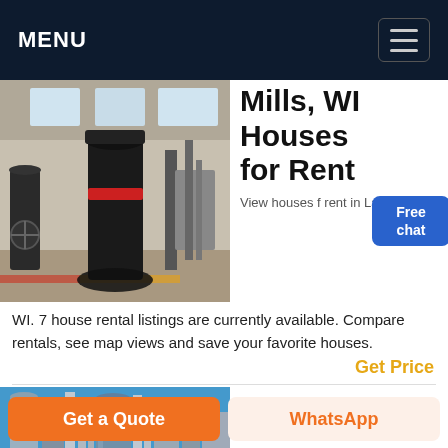MENU
[Figure (photo): Industrial mill machine inside a large factory building with high ceilings]
Mills, WI Houses for Rent
View houses for rent in Lake M... WI. 7 house rental listings are currently available. Compare rentals, see map views and save your favorite houses.
Get Price
[Figure (photo): Industrial metal silos and pipes against a blue sky]
Blain's
Get a Quote
WhatsApp